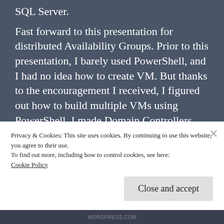SQL Server.
Fast forward to this presentation for distributed Availability Groups. Prior to this presentation, I barely used PowerShell, and I had no idea how to create VM. But thanks to the encouragement I received, I figured out how to build multiple VMs using PowerShell. I made Domain Controllers and all that jazz. Honestly, I think all the things I had to do to
Privacy & Cookies: This site uses cookies. By continuing to use this website, you agree to their use.
To find out more, including how to control cookies, see here:
Cookie Policy
Close and accept
WORDPRESS.COM